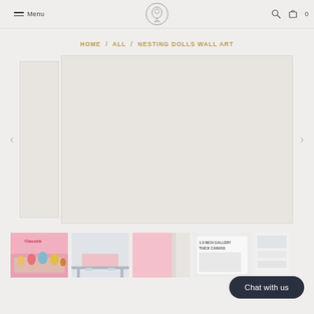Menu [Logo] [Search] [Cart] 0
HOME / ALL / NESTING DOLLS WALL ART
[Figure (photo): Main product image viewer with left thumbnail panel and large main display area for Nesting Dolls Wall Art]
[Figure (photo): Thumbnail 1: Nesting dolls wall art colorful pink and gold]
[Figure (photo): Thumbnail 2: Wall art on silver/metal shelving unit]
[Figure (photo): Thumbnail 3: Close-up of canvas edge showing pink artwork]
[Figure (photo): Thumbnail 4: 1.5 inch gallery thick canvas label/packaging]
[Figure (photo): Thumbnail 5: Partially visible fifth thumbnail]
Chat with us